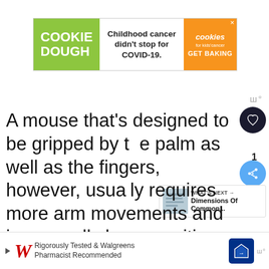[Figure (screenshot): Advertisement banner: Cookie Dough / Childhood cancer didn't stop for COVID-19. / cookies for kids cancer GET BAKING]
A mouse that's designed to be gripped by the palm as well as the fingers, however, usually requires more arm movements and is generally less sensitive, so it requires more space to direct. In this case, a large mouse pad is usually the better choice.
[Figure (screenshot): Bottom advertisement: Walgreens - Rigorously Tested & Walgreens Pharmacist Recommended]
[Figure (screenshot): What's Next widget: Dimensions Of Common...]